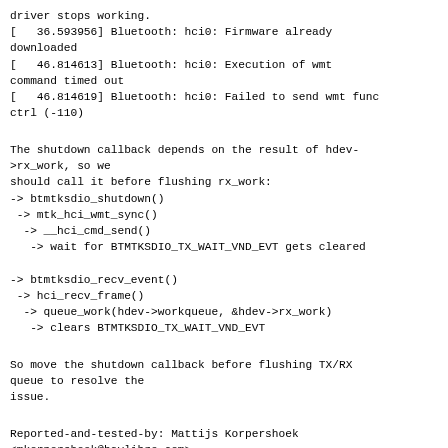driver stops working.
[   36.593956] Bluetooth: hci0: Firmware already downloaded
[   46.814613] Bluetooth: hci0: Execution of wmt command timed out
[   46.814619] Bluetooth: hci0: Failed to send wmt func ctrl (-110)
The shutdown callback depends on the result of hdev->rx_work, so we should call it before flushing rx_work:
-> btmtksdio_shutdown()
 -> mtk_hci_wmt_sync()
  -> __hci_cmd_send()
   -> wait for BTMTKSDIO_TX_WAIT_VND_EVT gets cleared

-> btmtksdio_recv_event()
 -> hci_recv_frame()
  -> queue_work(hdev->workqueue, &hdev->rx_work)
   -> clears BTMTKSDIO_TX_WAIT_VND_EVT
So move the shutdown callback before flushing TX/RX queue to resolve the issue.
Reported-and-tested-by: Mattijs Korpershoek <mkorpershoek@baylibre.com>
Tested-by: Hsin-Yi Wang <hsinyi@chromium.org>
Cc: Guenter Roeck <linux@roeck-us.net>
Fixes: 0ea9fd001a14 ("Bluetooth: Shutdown controller after workqueue are flushed or cancelled")